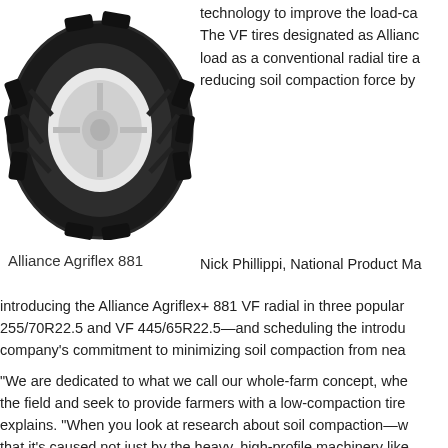[Figure (photo): Close-up photograph of an Alliance Agriflex 881 agricultural tire mounted on a white rim, showing deep tread pattern on a white background.]
technology to improve the load-ca
The VF tires designated as Allianc
load as a conventional radial tire a
reducing soil compaction force by
Alliance Agriflex 881
Nick Phillippi, National Product Ma
introducing the Alliance Agriflex+ 881 VF radial in three popular
255/70R22.5 and VF 445/65R22.5—and scheduling the introdu
company's commitment to minimizing soil compaction from nea
"We are dedicated to what we call our whole-farm concept, whe
the field and seek to provide farmers with a low-compaction tire
explains. "When you look at research about soil compaction—w
that it's caused not just by the heavy, high-profile machinery like
also from planters and drills, grain carts, and all sorts of other to